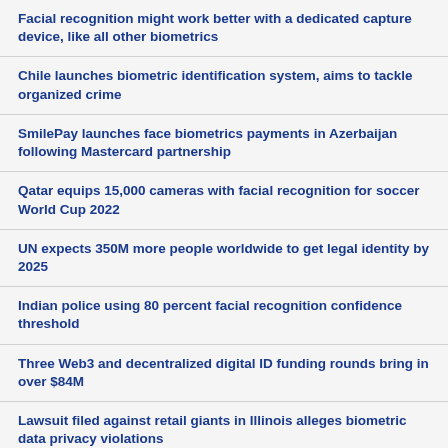Facial recognition might work better with a dedicated capture device, like all other biometrics
Chile launches biometric identification system, aims to tackle organized crime
SmilePay launches face biometrics payments in Azerbaijan following Mastercard partnership
Qatar equips 15,000 cameras with facial recognition for soccer World Cup 2022
UN expects 350M more people worldwide to get legal identity by 2025
Indian police using 80 percent facial recognition confidence threshold
Three Web3 and decentralized digital ID funding rounds bring in over $84M
Lawsuit filed against retail giants in Illinois alleges biometric data privacy violations